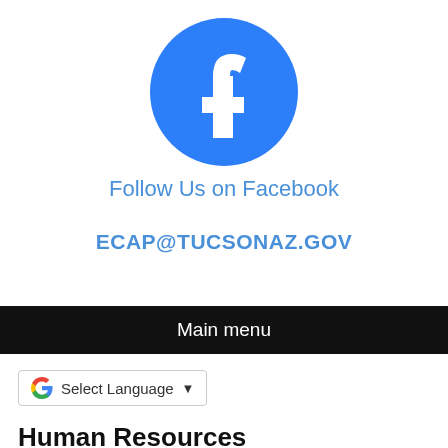[Figure (logo): Facebook logo — blue circle with white 'f' letter]
Follow Us on Facebook
ECAP@TUCSONAZ.GOV
Main menu
[Figure (screenshot): Google Translate widget — G logo, 'Select Language', dropdown arrow]
Human Resources
City Employee & Retiree ...  Benefits ...